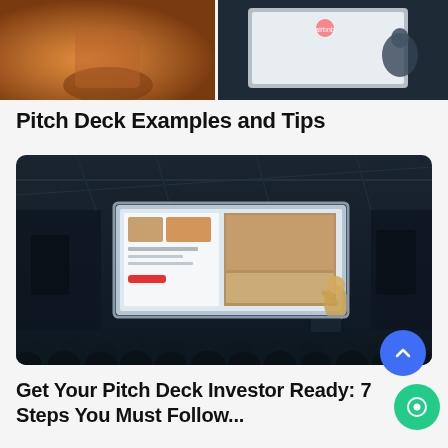[Figure (photo): Top strip showing two images: left is a warm-toned drink/food photo, right shows an Airbnb presentation slide with a presenter and audience]
Pitch Deck Examples and Tips
[Figure (photo): A presenter standing in front of a large projection screen in a darkened auditorium. The screen shows a food delivery or restaurant app UI. An audience of silhouetted people is visible in the foreground.]
Get Your Pitch Deck Investor Ready: 7 Steps You Must Follow...